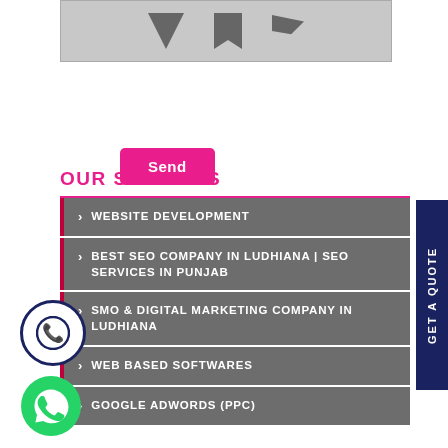[Figure (illustration): Gray box with three dark icons (down arrow, bookmark, flag)]
Send
OUR SERVICES
> WEBSITE DEVELOPMENT
> BEST SEO COMPANY IN LUDHIANA | SEO SERVICES IN PUNJAB
> SMO & DIGITAL MARKETING COMPANY IN LUDHIANA
> WEB BASED SOFTWARES
> GOOGLE ADWORDS (PPC)
[Figure (illustration): Blue circle phone call icon]
[Figure (illustration): WhatsApp green icon]
GET A QUOTE